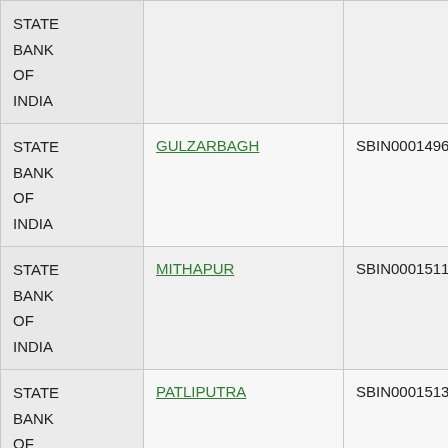| Bank | Branch | IFSC | PIN |
| --- | --- | --- | --- |
| STATE BANK OF INDIA |  |  |  |
| STATE BANK OF INDIA | GULZARBAGH | SBIN0001496 | 800002018 |
| STATE BANK OF INDIA | MITHAPUR | SBIN0001511 | 800002029 |
| STATE BANK OF INDIA | PATLIPUTRA | SBIN0001513 | 800002033 |
| STATE BANK OF INDIA | KADAMKUAN | SBIN0001561 | 800002023 |